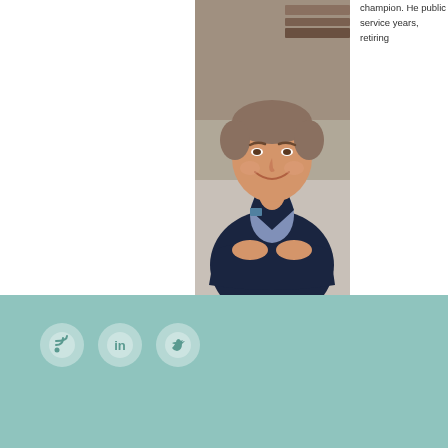[Figure (photo): Portrait photo of a middle-aged man wearing a navy blue blazer, smiling with arms crossed, seated in front of bookshelves]
champion. He public service years, retiring
[Figure (infographic): Footer section with teal/muted green background containing social media icons (RSS, LinkedIn, Twitter) and a navigation list (About, Vision M..., History, Committ..., Past Pres..., Message...)]
About
Vision, M
History
Committ
Past Pres
Message